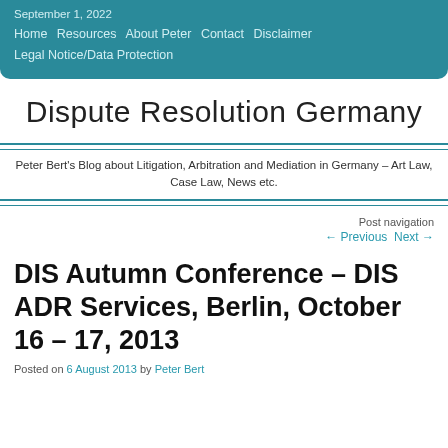September 1, 2022
Home  Resources  About Peter  Contact  Disclaimer
Legal Notice/Data Protection
Dispute Resolution Germany
Peter Bert's Blog about Litigation, Arbitration and Mediation in Germany – Art Law, Case Law, News etc.
Post navigation
← Previous   Next →
DIS Autumn Conference – DIS ADR Services, Berlin, October 16 – 17, 2013
Posted on 6 August 2013 by Peter Bert